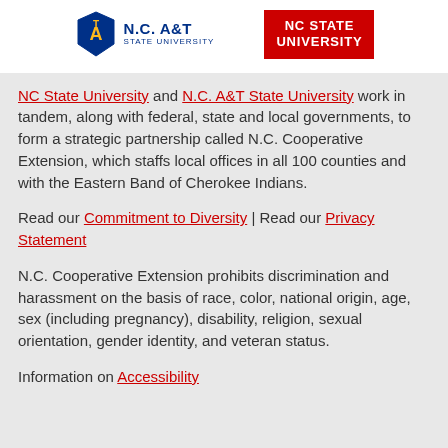[Figure (logo): NC A&T State University logo and NC State University logo side by side on white background]
NC State University and N.C. A&T State University work in tandem, along with federal, state and local governments, to form a strategic partnership called N.C. Cooperative Extension, which staffs local offices in all 100 counties and with the Eastern Band of Cherokee Indians.
Read our Commitment to Diversity | Read our Privacy Statement
N.C. Cooperative Extension prohibits discrimination and harassment on the basis of race, color, national origin, age, sex (including pregnancy), disability, religion, sexual orientation, gender identity, and veteran status.
Information on Accessibility